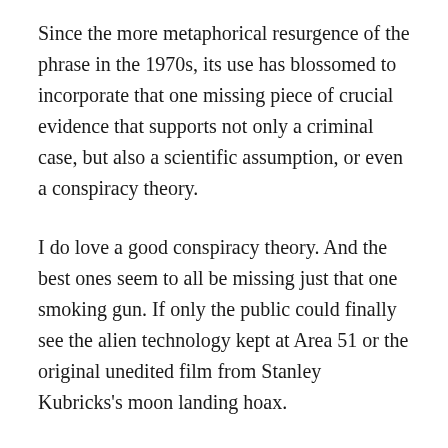Since the more metaphorical resurgence of the phrase in the 1970s, its use has blossomed to incorporate that one missing piece of crucial evidence that supports not only a criminal case, but also a scientific assumption, or even a conspiracy theory.
I do love a good conspiracy theory. And the best ones seem to all be missing just that one smoking gun. If only the public could finally see the alien technology kept at Area 51 or the original unedited film from Stanley Kubricks's moon landing hoax.
My new novel Smoke Rose to Heaven, which came out this week, was inspired by a smoking gun from history. In 1830, a man named Joseph Smith published a new